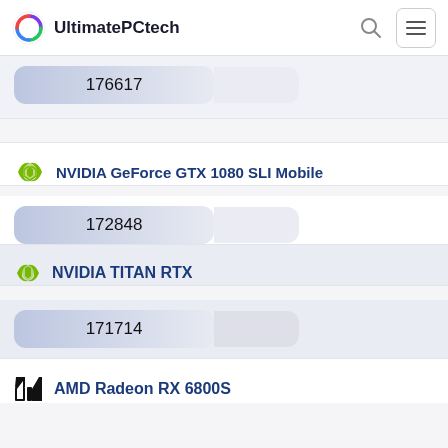UltimatePCtech
176617
NVIDIA GeForce GTX 1080 SLI Mobile
172848
NVIDIA TITAN RTX
171714
AMD Radeon RX 6800S